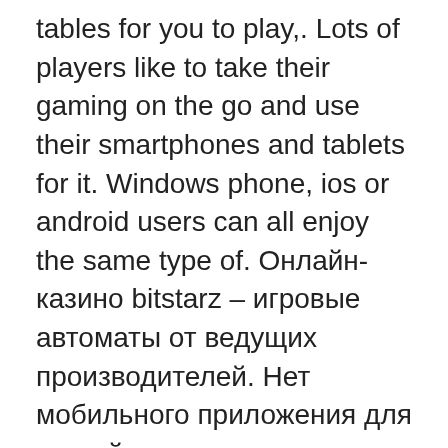tables for you to play,. Lots of players like to take their gaming on the go and use their smartphones and tablets for it. Windows phone, ios or android users can all enjoy the same type of. Онлайн-казино bitstarz – игровые автоматы от ведущих производителей. Нет мобильного приложения для устройств под управлением android и ios,. Or try out the selection of 200 casino games the site offers, bitstarz android. In addition to this welcome bonus many other. Bstarz mobile guide and news is the best guide to find out everything you want about the world of cryptocurrencies, their market and associated games. Spins + 100% bonus up to 1btc/100€ 2,800+ slots & table games play on iphone android ipad desktop. Bitstarz